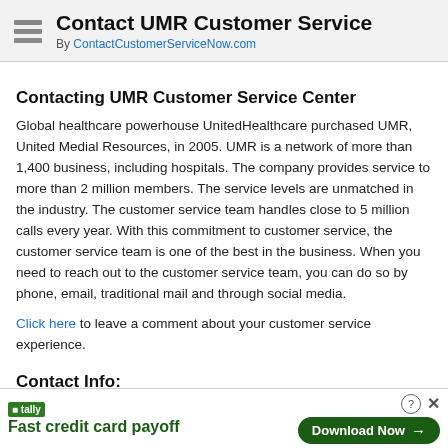Contact UMR Customer Service
By ContactCustomerServiceNow.com
Contacting UMR Customer Service Center
Global healthcare powerhouse UnitedHealthcare purchased UMR, United Medial Resources, in 2005. UMR is a network of more than 1,400 business, including hospitals. The company provides service to more than 2 million members. The service levels are unmatched in the industry. The customer service team handles close to 5 million calls every year. With this commitment to customer service, the customer service team is one of the best in the business. When you need to reach out to the customer service team, you can do so by phone, email, traditional mail and through social media.
Click here to leave a comment about your customer service experience.
Contact Info:
Phone Contact Number
[Figure (other): Advertisement banner for Tally app: Fast credit card payoff. Download Now button.]